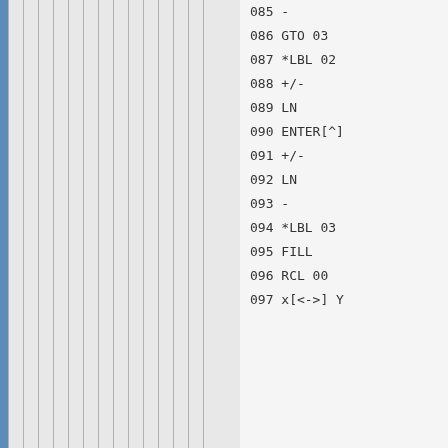085 -
086 GTO 03
087 *LBL 02
088 +/-
089 LN
090 ENTER[^]
091 +/-
092 LN
093 -
094 *LBL 03
095 FILL
096 RCL 00
097 x[<->] Y